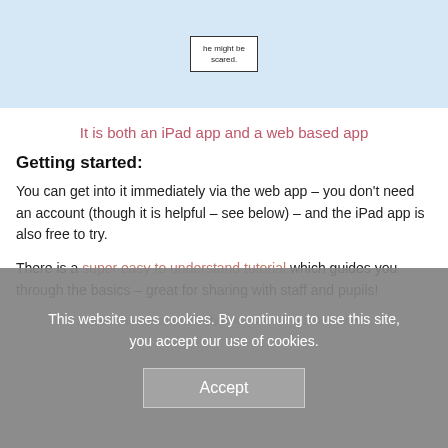[Figure (screenshot): Screenshot of a dialog box with text 'he might be scared.' on a light blue background]
It is both an iPad app and a web based app
Getting started:
You can get into it immediately via the web app – you don't need an account (though it is helpful – see below) – and the iPad app is also free to try.
There is a super easy to understand tutorial which guides you through the basics – great for sharing with staff and pupils!
This website uses cookies. By continuing to use this site, you accept our use of cookies.